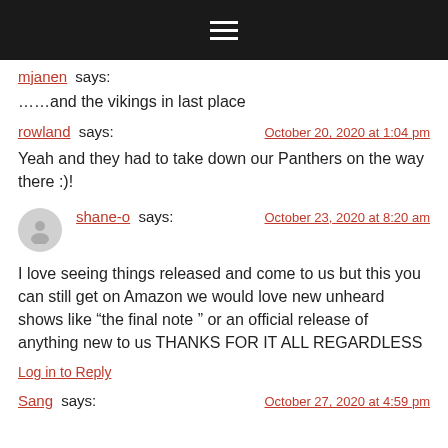hamburger menu icon
mjanen says:
……and the vikings in last place
rowland says:
October 20, 2020 at 1:04 pm
Yeah and they had to take down our Panthers on the way there :)!
shane-o says:
October 23, 2020 at 8:20 am
I love seeing things released and come to us but this you can still get on Amazon we would love new unheard shows like "the final note " or an official release of anything new to us THANKS FOR IT ALL REGARDLESS
Log in to Reply
Sang says:
October 27, 2020 at 4:59 pm